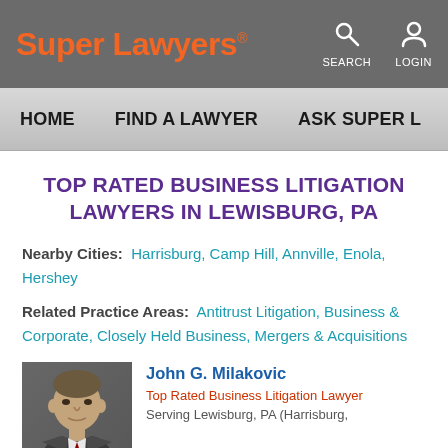Super Lawyers | SEARCH | LOGIN
HOME | FIND A LAWYER | ASK SUPER L...
TOP RATED BUSINESS LITIGATION LAWYERS IN LEWISBURG, PA
Nearby Cities: Harrisburg, Camp Hill, Annville, Enola, Hershey
Related Practice Areas: Antitrust Litigation, Business & Corporate, Closely Held Business, Mergers & Acquisitions
[Figure (photo): Photo of John G. Milakovic, a middle-aged man in a suit against a dark background]
John G. Milakovic
Top Rated Business Litigation Lawyer
Serving Lewisburg, PA (Harrisburg,